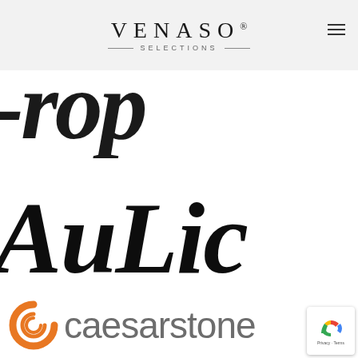VENASO® SELECTIONS
[Figure (logo): Venaso Selections brand logo with serif company name and decorative tagline on grey background]
[Figure (logo): Partial cropped italic serif text reading '-rop' in large black bold letters, partially cut off at top]
[Figure (logo): AuLic brand logo in large bold italic serif font, black text on white background]
[Figure (logo): Caesarstone brand logo with orange circular icon and grey sans-serif text, partially cropped at right edge]